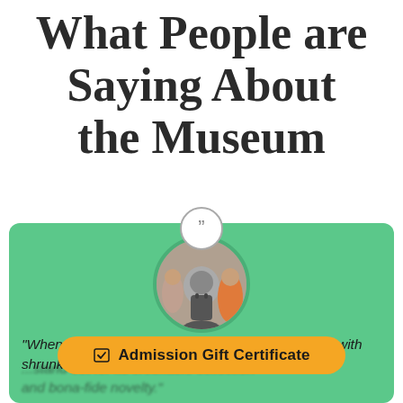What People are Saying About the Museum
[Figure (illustration): Green testimonial card with a circular photo of a person viewed from behind (wearing a grey hoodie and backpack), a quotation mark icon circle at the top, and a quote: "When every major city seems to have a storefront with shrunken heads and...and bona-fide novelty." An orange rounded button labeled 'Admission Gift Certificate' overlays the text.]
“When every major city seems to have a storefront with shrunken heads and
and bona-fide novelty.”